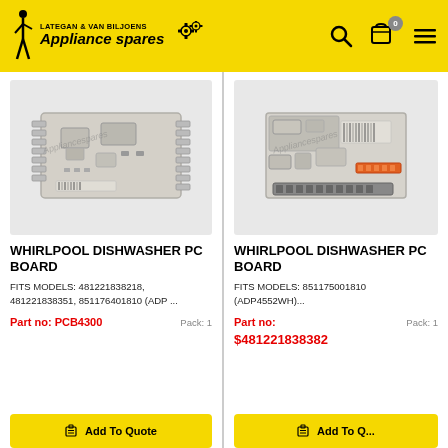LATEGAN & VAN BILJOENS Appliance spares
[Figure (photo): Whirlpool dishwasher PC board circuit board, grey/white rectangular PCB with connectors]
WHIRLPOOL DISHWASHER PC BOARD
FITS MODELS: 481221838218, 481221838351, 851176401810 (ADP ...
Part no: PCB4300   Pack: 1
[Figure (photo): Whirlpool dishwasher PC board circuit board, grey/white rectangular PCB with connectors, slightly different model]
WHIRLPOOL DISHWASHER PC BOARD
FITS MODELS: 851175001810 (ADP4552WH)...
Part no: $481221838382   Pack: 1